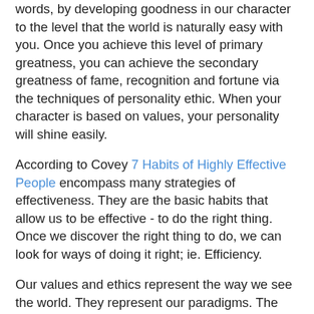words, by developing goodness in our character to the level that the world is naturally easy with you. Once you achieve this level of primary greatness, you can achieve the secondary greatness of fame, recognition and fortune via the techniques of personality ethic. When your character is based on values, your personality will shine easily.
According to Covey 7 Habits of Highly Effective People encompass many strategies of effectiveness. They are the basic habits that allow us to be effective - to do the right thing. Once we discover the right thing to do, we can look for ways of doing it right; ie. Efficiency.
Our values and ethics represent the way we see the world. They represent our paradigms. The models that we apply to the things around us, how we understand things, how we perceive and interpret the world. Covey compares paradigms to maps. This helps us to understand a basic difference between paradigms and reality. Map is not the territory. It is some sort of representation of the territory. So it is essential that we find the correct maps before we attempt to find our way using a map. If you have the wrong map, all other